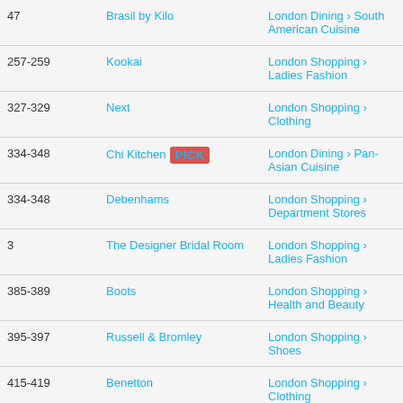|  | Name | Category |
| --- | --- | --- |
| 47 | Brasil by Kilo | London Dining > South American Cuisine |
| 257-259 | Kookai | London Shopping > Ladies Fashion |
| 327-329 | Next | London Shopping > Clothing |
| 334-348 | Chi Kitchen [PICK] | London Dining > Pan-Asian Cuisine |
| 334-348 | Debenhams | London Shopping > Department Stores |
| 3 | The Designer Bridal Room | London Shopping > Ladies Fashion |
| 385-389 | Boots | London Shopping > Health and Beauty |
| 395-397 | Russell & Bromley | London Shopping > Shoes |
| 415-419 | Benetton | London Shopping > Clothing |